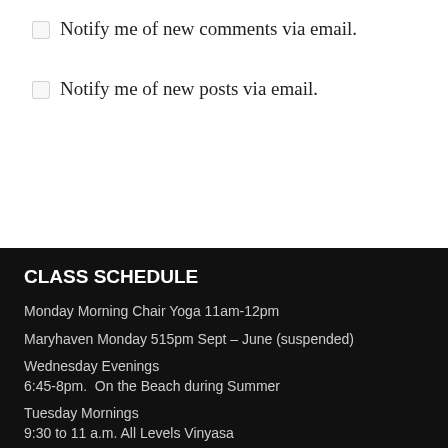Notify me of new comments via email.
Notify me of new posts via email.
CLASS SCHEDULE
Monday Morning Chair Yoga 11am-12pm
Maryhaven Monday 515pm Sept – June (suspended)
Wednesday Evenings
6:45-8pm.  On the Beach during Summer
Tuesday Mornings
9:30 to 11 a.m. All Levels Vinyasa
Thursday 1199 Beginners Yoga for Retired Health Care Workers – Riverhead Location (Suspended)
Friday Mornings